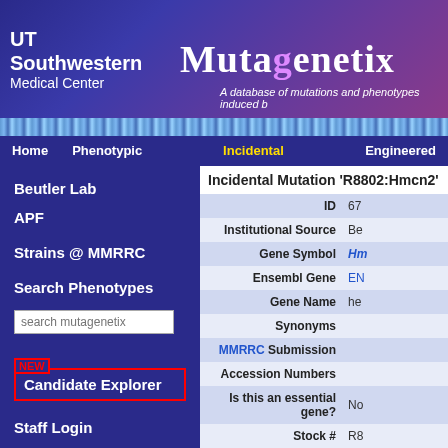[Figure (screenshot): UT Southwestern Medical Center and Mutagenetix header banner with DNA helix graphic]
Home   Phenotypic Mutations   Incidental Mutations   Engineered
Beutler Lab
APF
Strains @ MMRRC
Search Phenotypes
Candidate Explorer
Staff Login
Download
Incidental Mutation 'R8802:Hmcn2'
| Field | Value |
| --- | --- |
| ID | 67 |
| Institutional Source | Be |
| Gene Symbol | Hm |
| Ensembl Gene | EN |
| Gene Name | he |
| Synonyms |  |
| MMRRC Submission |  |
| Accession Numbers |  |
| Is this an essential gene? | No |
| Stock # | R8 |